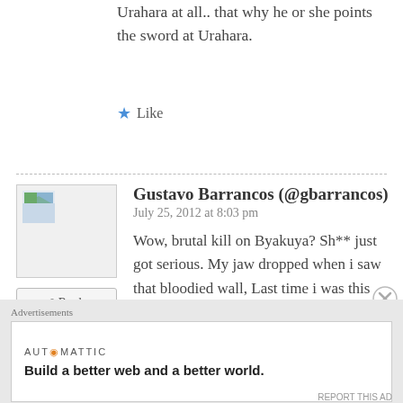Urahara at all.. that why he or she points the sword at Urahara.
★ Like
Gustavo Barrancos (@gbarrancos)
July 25, 2012 at 8:03 pm
Wow, brutal kill on Byakuya? Sh** just got serious. My jaw dropped when i saw that bloodied wall, Last time i was this shocked was when Aizen was found dead with the sword stabbed in his chest in
I really love Byakuya's character, but i truly think he's gone for good and his death is a
Advertisements
AUT⊙MATTIC
Build a better web and a better world.